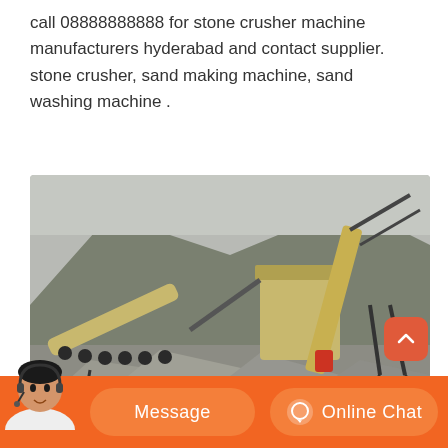call 08888888888 for stone crusher machine manufacturers hyderabad and contact supplier. stone crusher, sand making machine, sand washing machine .
[Figure (photo): Outdoor industrial stone crushing plant with conveyor belts, large crushing equipment on metal frames, gravel piles in foreground, mountainous terrain in background.]
Message
Online Chat